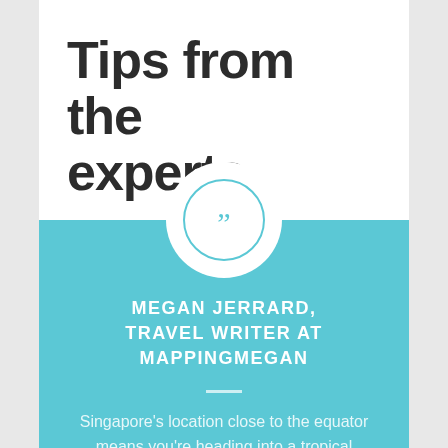Tips from the experts
MEGAN JERRARD, TRAVEL WRITER AT MAPPINGMEGAN
Singapore's location close to the equator means you're heading into a tropical climate. The